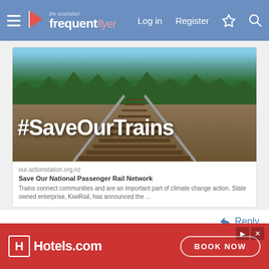The Australian Frequent Flyer — Log in  Register
[Figure (photo): Railway tracks image with overlay text '#SaveOurTrains' and a link card below showing: our.actionstation.org.nz / Save Our National Passenger Rail Network / Trains connect communities and are an important part of climate change action. State owned enterprise, KiwiRail, has announced the ...]
Reply
😟 Eastwick20, Must...Fly!, Rugby and 2 others
Sponsored Post
[Figure (logo): Sponsored Post avatar logo with red/white design]
This is a... many ways you can...
[Figure (screenshot): Hotels.com advertisement banner with red background, Hotels.com logo and BOOK NOW button]